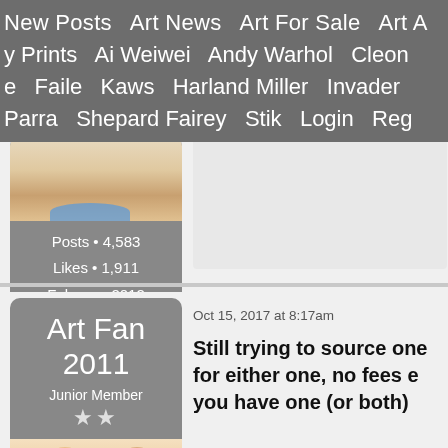New Posts   Art News   Art For Sale   Art A   y Prints   Ai Weiwei   Andy Warhol   Cleon   e   Faile   Kaws   Harland Miller   Invader   Parra   Shepard Fairey   Stik   Login   Reg
[Figure (photo): User avatar showing a belly/torso with blue swimwear bottom]
Posts • 4,583
Likes • 1,911
February 2012
Art Fan 2011
Junior Member
★★
Oct 15, 2017 at 8:17am
Still trying to source one for either one, no fees e you have one (or both)
[Figure (photo): User avatar showing two girls/women]